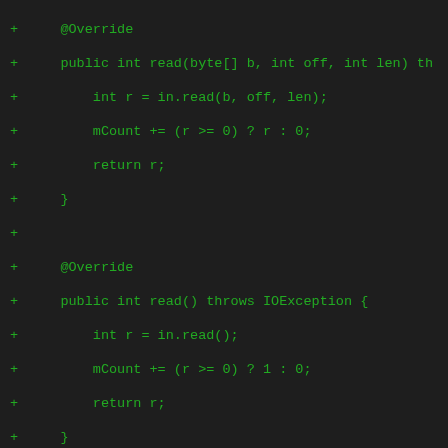Code diff showing Java InputStream wrapper methods: read(byte[], int, int), read(), skip(long), skipOrThrow(long), skipTo(long)